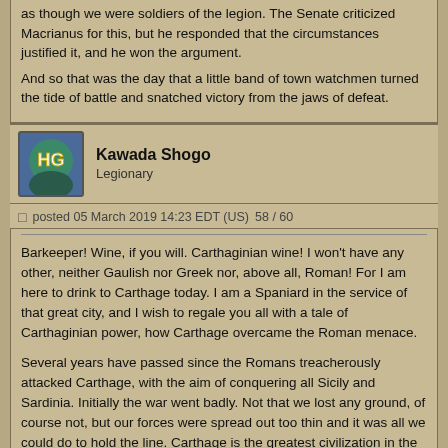as though we were soldiers of the legion. The Senate criticized Macrianus for this, but he responded that the circumstances justified it, and he won the argument.

And so that was the day that a little band of town watchmen turned the tide of battle and snatched victory from the jaws of defeat.
Kawada Shogo
Legionary
posted 05 March 2019 14:23 EDT (US)   58 / 60
Barkeeper! Wine, if you will. Carthaginian wine! I won't have any other, neither Gaulish nor Greek nor, above all, Roman! For I am here to drink to Carthage today. I am a Spaniard in the service of that great city, and I wish to regale you all with a tale of Carthaginian power, how Carthage overcame the Roman menace.

Several years have passed since the Romans treacherously attacked Carthage, with the aim of conquering all Sicily and Sardinia. Initially the war went badly. Not that we lost any ground, of course not, but our forces were spread out too thin and it was all we could do to hold the line. Carthage is the greatest civilization in the world, but any Carthaginian will freely admit that Rome is as near to being her equal as any other. Some of us held Sardinia against the Romans who landed there, while others held the line in our part of Sicily, and others still tried to maintain Carthaginian control over the sea. Neither we nor the Romans were able to gain the decisive upper hand for several years.